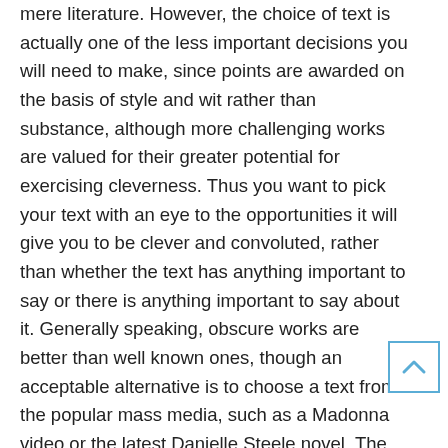mere literature. However, the choice of text is actually one of the less important decisions you will need to make, since points are awarded on the basis of style and wit rather than substance, although more challenging works are valued for their greater potential for exercising cleverness. Thus you want to pick your text with an eye to the opportunities it will give you to be clever and convoluted, rather than whether the text has anything important to say or there is anything important to say about it. Generally speaking, obscure works are better than well known ones, though an acceptable alternative is to choose a text from the popular mass media, such as a Madonna video or the latest Danielle Steele novel. The text can be of any length, from the complete works of Louis L'Amour
[Figure (other): Scroll-to-top button: a square with a blue border containing a blue upward-pointing chevron/arrow]